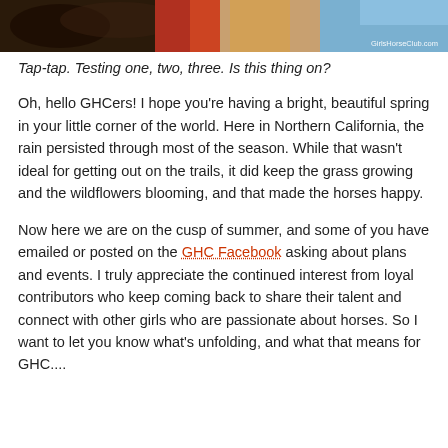[Figure (photo): Partial photo of a horse and rider with festive attire, with 'GirlsHorseClub.com' watermark in bottom right]
Tap-tap. Testing one, two, three. Is this thing on?
Oh, hello GHCers! I hope you're having a bright, beautiful spring in your little corner of the world. Here in Northern California, the rain persisted through most of the season. While that wasn't ideal for getting out on the trails, it did keep the grass growing and the wildflowers blooming, and that made the horses happy.
Now here we are on the cusp of summer, and some of you have emailed or posted on the GHC Facebook asking about plans and events. I truly appreciate the continued interest from loyal contributors who keep coming back to share their talent and connect with other girls who are passionate about horses. So I want to let you know what's unfolding, and what that means for GHC....